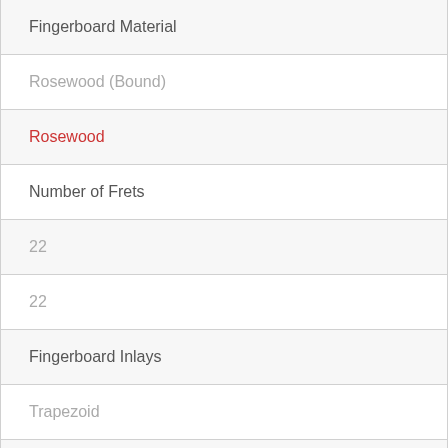| Fingerboard Material |
| Rosewood (Bound) |
| Rosewood |
| Number of Frets |
| 22 |
| 22 |
| Fingerboard Inlays |
| Trapezoid |
| Dot |